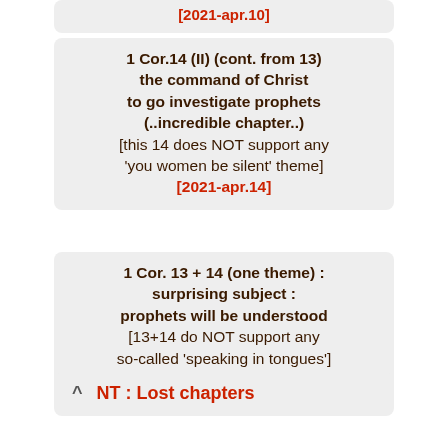[2021-apr.10]
1 Cor.14 (II) (cont. from 13) the command of Christ to go investigate prophets (..incredible chapter..) [this 14 does NOT support any 'you women be silent' theme] [2021-apr.14]
1 Cor. 13 + 14 (one theme) : surprising subject : prophets will be understood [13+14 do NOT support any so-called 'speaking in tongues'] [2021-apr.12]
NT : Lost chapters